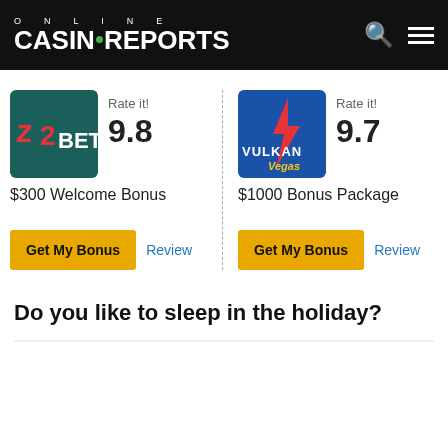ONLINE CASINOREPORTS
[Figure (logo): 22Bet casino logo - teal background with red Z and '2BET' text]
Rate it! 9.8
$300 Welcome Bonus
[Figure (logo): Vulkan Vegas casino logo - blue background with Vulkan Vegas text]
Rate it! 9.7
$1000 Bonus Package
Do you like to sleep in the holiday?